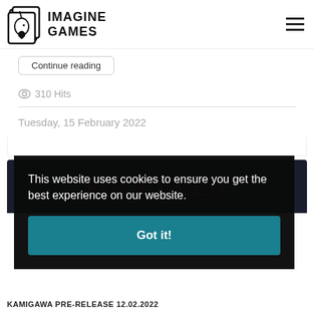IMAGINE GAMES
Continue reading
310 Hits
Tuesday, 15 February 2022
[Figure (screenshot): Dark banner image with neon pink/purple stylized text logo on dark background]
This website uses cookies to ensure you get the best experience on our website.
Got it!
KAMIGAWA PRE-RELEASE 12.02.2022